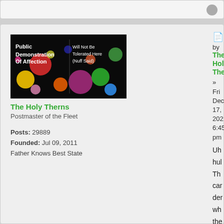[Figure (screenshot): Top bar of a forum page with a gray circular icon on the right]
[Figure (photo): Dark background image with colorful circles and text reading 'Public Demonstration Of Affection' and 'Will Not Be Tolerated Here (Nuff Said)' - forum avatar for The Holy Therns]
The Holy Therns
Postmaster of the Fleet
Posts: 29889
Founded: Jul 09, 2011
Father Knows Best State
by The Holy Therns
» Fri Dec 17, 2021 6:45 pm
Uh
hul
Th
car
der
wh
the
like
I
thir
Pla
wit
atti
You